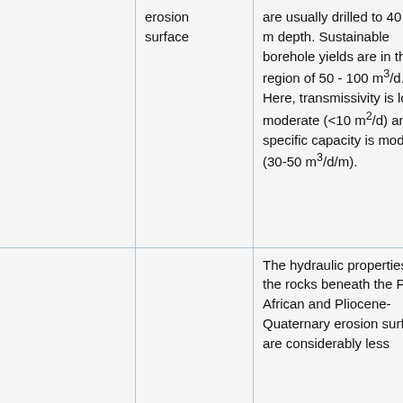|  | erosion surface | are usually drilled to 40 – 50 m depth. Sustainable borehole yields are in the region of 50 - 100 m³/d. Here, transmissivity is low to moderate (<10 m²/d) and specific capacity is moderate (30-50 m³/d/m). | concentrations >1000 m recorded. hazard. |
|  |  | The hydraulic properties of the rocks beneath the Post-African and Pliocene-Quaternary erosion surfaces are considerably less |  |